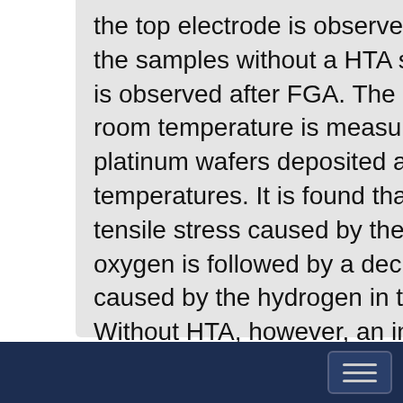the top electrode is observed after FGA. For the samples without a HTA step, no peeling is observed after FGA. The residual stress at room temperature is measured for blanket platinum wafers deposited at different temperatures. It is found that an increase in tensile stress caused by the HTA step in oxygen is followed by a decrease in stress caused by the hydrogen in the forming gas. Without HTA, however, an increase of stress is observed after FGA.